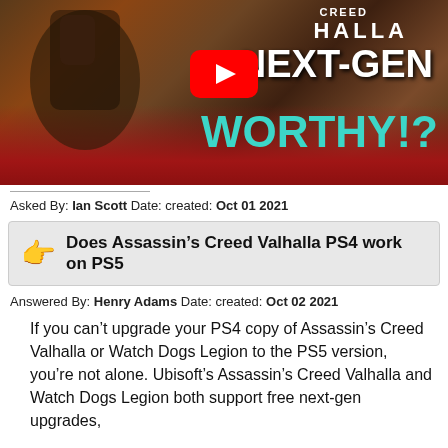[Figure (screenshot): YouTube video thumbnail for Assassin's Creed Valhalla PS5 review showing 'NEXT-GEN WORTHY!?' text with YouTube play button over a landscape with red foliage and a character]
Asked By: Ian Scott Date: created: Oct 01 2021
Does Assassin’s Creed Valhalla PS4 work on PS5
Answered By: Henry Adams Date: created: Oct 02 2021
If you can’t upgrade your PS4 copy of Assassin’s Creed Valhalla or Watch Dogs Legion to the PS5 version, you’re not alone. Ubisoft’s Assassin’s Creed Valhalla and Watch Dogs Legion both support free next-gen upgrades,